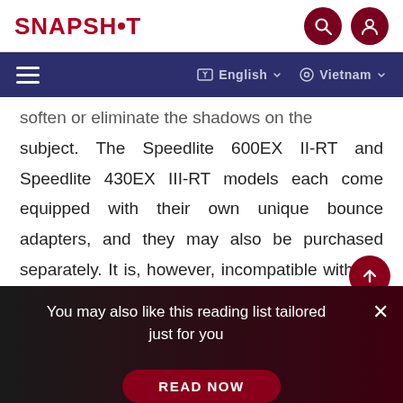SNAPSHOT
soften or eliminate the shadows on the subject. The Speedlite 600EX II-RT and Speedlite 430EX III-RT models each come equipped with their own unique bounce adapters, and they may also be purchased separately. It is, however, incompatible with the Speedlite 270EX II.
You may also like this reading list tailored just for you
READ NOW